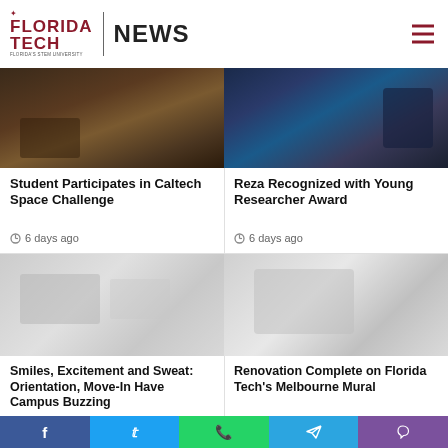FLORIDA TECH NEWS
[Figure (photo): Florida Tech news page header with logo and navigation, showing campus statue and greenery in background]
[Figure (photo): Students at Caltech Space Challenge event]
Student Participates in Caltech Space Challenge
6 days ago
[Figure (photo): Reza Young Researcher Award recognition event]
Reza Recognized with Young Researcher Award
6 days ago
[Figure (photo): Orientation and Move-In day on campus]
Smiles, Excitement and Sweat: Orientation, Move-In Have Campus Buzzing
2 weeks ago
[Figure (photo): Florida Tech Melbourne Mural renovation]
Renovation Complete on Florida Tech's Melbourne Mural
2 weeks ago